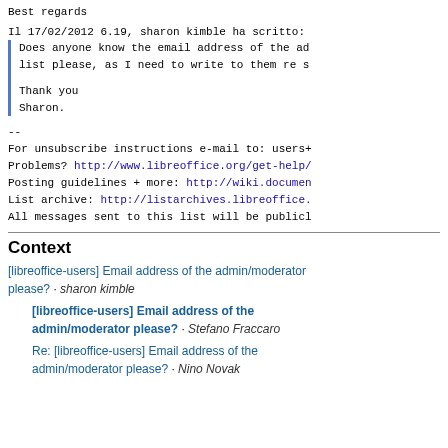Best regards
Il 17/02/2012 6.19, sharon kimble ha scritto:
Does anyone know the email address of the admin/moderator of this list please, as I need to write to them re s

Thank you
Sharon.
--
For unsubscribe instructions e-mail to: users+
Problems? http://www.libreoffice.org/get-help/
Posting guidelines + more: http://wiki.documen
List archive: http://listarchives.libreoffice.
All messages sent to this list will be publicl
Context
[libreoffice-users] Email address of the admin/moderator please? · sharon kimble
Re: [libreoffice-users] Email address of the admin/moderator please? · Stefano Fraccaro
Re: [libreoffice-users] Email address of the admin/moderator please? · Nino Novak